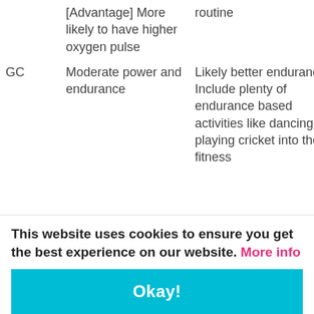|  |  |  |
| --- | --- | --- |
|  | [Advantage] More likely to have higher oxygen pulse | routine |
| GC | Moderate power and endurance | Likely better endurance Include plenty of endurance based activities like dancing and playing cricket into the fitness |
This website uses cookies to ensure you get the best experience on our website. More info
Okay!